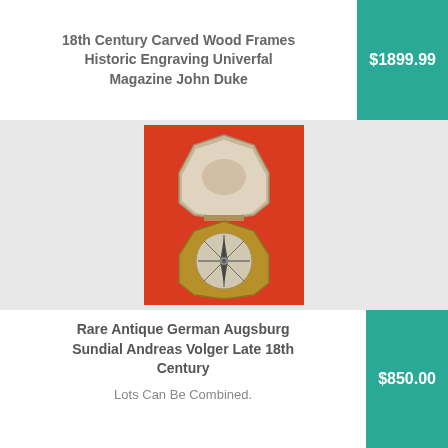18th Century Carved Wood Frames Historic Engraving Univerfal Magazine John Duke
$1899.99
[Figure (photo): Antique German Augsburg sundial compass open, showing octagonal brass case with compass inside, on red background]
Rare Antique German Augsburg Sundial Andreas Volger Late 18th Century
$850.00
Lots Can Be Combined.